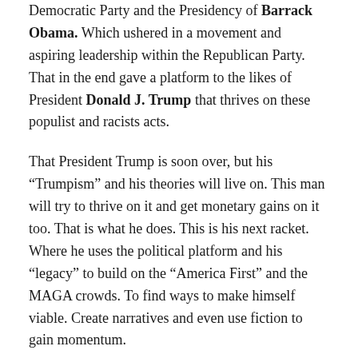Democratic Party and the Presidency of Barrack Obama. Which ushered in a movement and aspiring leadership within the Republican Party. That in the end gave a platform to the likes of President Donald J. Trump that thrives on these populist and racists acts.
That President Trump is soon over, but his “Trumpism” and his theories will live on. This man will try to thrive on it and get monetary gains on it too. That is what he does. This is his next racket. Where he uses the political platform and his “legacy” to build on the “America First” and the MAGA crowds. To find ways to make himself viable. Create narratives and even use fiction to gain momentum.
That is why they are still forging the narrative of a stolen